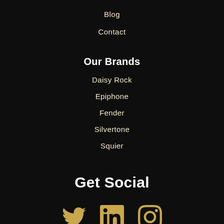Blog
Contact
Our Brands
Daisy Rock
Epiphone
Fender
Silvertone
Squier
Get Social
[Figure (infographic): Three social media icons in gold: Twitter bird, LinkedIn 'in' box, Instagram camera outline]